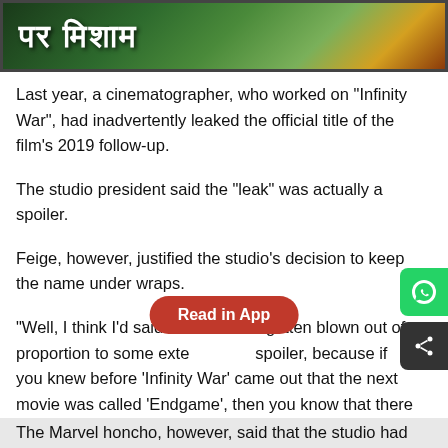[Figure (photo): Banner image with Hindi text on dark background with colorful fabric/clothing in background]
Last year, a cinematographer, who worked on "Infinity War", had inadvertently leaked the official title of the film's 2019 follow-up.
The studio president said the "leak" was actually a spoiler.
Feige, however, justified the studio's decision to keep the name under wraps.
"Well, I think I'd said that it all had gotten blown out of proportion to some exte...spoiler, because if you knew before 'Infinity War' came out that the next movie was called 'Endgame', then you know that there wasn't an ending to 'Infinity War'," he told Collider.Com.
The Marvel honcho, however, said that the studio had